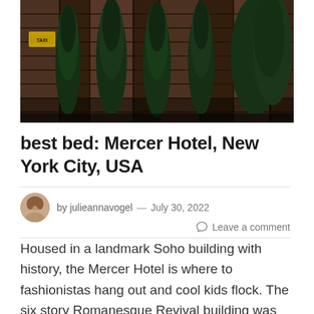[Figure (photo): Exterior photo of a red brick building with tall dark green cypress/arborvitae trees in front, urban street scene]
best bed: Mercer Hotel, New York City, USA
by julieannavogel — July 30, 2022
Leave a comment
Housed in a landmark Soho building with history, the Mercer Hotel is where to fashionistas hang out and cool kids flock. The six story Romanesque Revival building was designed in 1890 by William